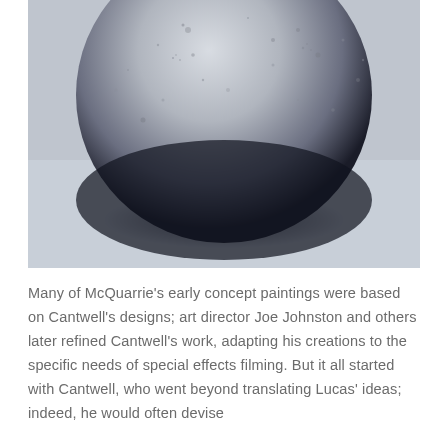[Figure (photo): Close-up photograph of a spherical object resembling a moon or planet, light grey on top with dark blue-black shadowing at the bottom, textured surface with small bumps and markings, sitting on a light grey-blue surface with a dark oval shadow beneath it.]
Many of McQuarrie's early concept paintings were based on Cantwell's designs; art director Joe Johnston and others later refined Cantwell's work, adapting his creations to the specific needs of special effects filming. But it all started with Cantwell, who went beyond translating Lucas' ideas; indeed, he would often devise